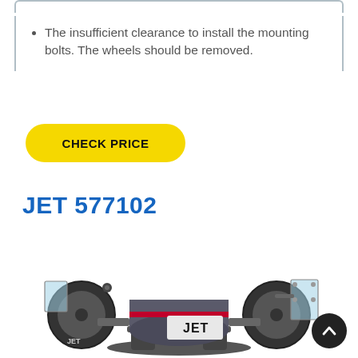The insufficient clearance to install the mounting bolts. The wheels should be removed.
CHECK PRICE
JET 577102
[Figure (photo): JET 577102 bench grinder with dual grinding wheels, transparent eye shields on both sides, and a gray cylindrical motor body with JET branding label.]